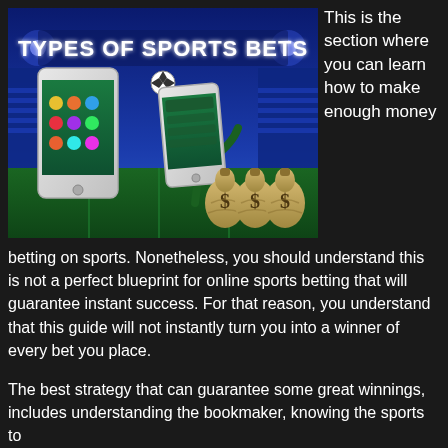[Figure (illustration): Sports betting promotional banner showing a smartphone with sports betting app, a soccer player kicking a ball, and three money bags with dollar signs. Text overlay reads 'TYPES OF SPORTS BETS'. Background is a stadium scene.]
This is the section where you can learn how to make enough money betting on sports. Nonetheless, you should understand this is not a perfect blueprint for online sports betting that will guarantee instant success. For that reason, you understand that this guide will not instantly turn you into a winner of every bet you place.
The best strategy that can guarantee some great winnings, includes understanding the bookmaker, knowing the sports to